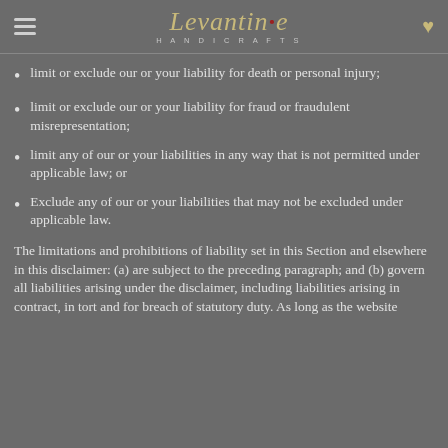Levantine HANDICRAFTS
limit or exclude our or your liability for death or personal injury;
limit or exclude our or your liability for fraud or fraudulent misrepresentation;
limit any of our or your liabilities in any way that is not permitted under applicable law; or
Exclude any of our or your liabilities that may not be excluded under applicable law.
The limitations and prohibitions of liability set in this Section and elsewhere in this disclaimer: (a) are subject to the preceding paragraph; and (b) govern all liabilities arising under the disclaimer, including liabilities arising in contract, in tort and for breach of statutory duty. As long as the website